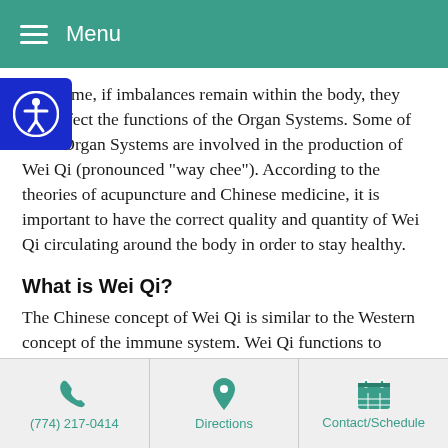Menu
Over time, if imbalances remain within the body, they will affect the functions of the Organ Systems. Some of these Organ Systems are involved in the production of Wei Qi (pronounced “way chee”). According to the theories of acupuncture and Chinese medicine, it is important to have the correct quality and quantity of Wei Qi circulating around the body in order to stay healthy.
What is Wei Qi?
The Chinese concept of Wei Qi is similar to the Western concept of the immune system. Wei Qi functions to protect and defend the body against foreign substances, that if not caught can lead to allergies. When Wei Qi is strong and abundant, we remain healthy. When the supply of Wei Qi
(774) 217-0414   Directions   Contact/Schedule